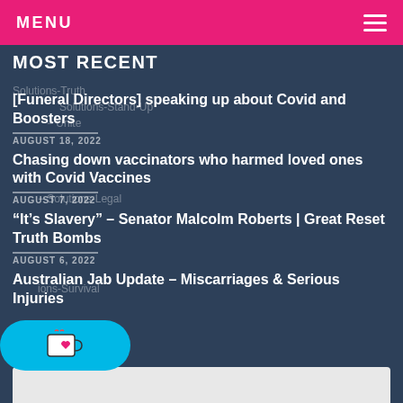MENU
MOST RECENT
[Funeral Directors] speaking up about Covid and Boosters
AUGUST 18, 2022
Chasing down vaccinators who harmed loved ones with Covid Vaccines
AUGUST 7, 2022
“It’s Slavery” – Senator Malcolm Roberts | Great Reset Truth Bombs
AUGUST 6, 2022
Australian Jab Update – Miscarriages & Serious Injuries
[Figure (illustration): Ko-fi coffee button widget with cyan background and heart coffee cup icon]